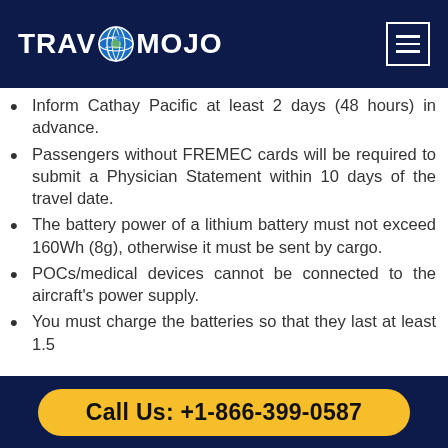TRAVOMOJO
Inform Cathay Pacific at least 2 days (48 hours) in advance.
Passengers without FREMEC cards will be required to submit a Physician Statement within 10 days of the travel date.
The battery power of a lithium battery must not exceed 160Wh (8g), otherwise it must be sent by cargo.
POCs/medical devices cannot be connected to the aircraft's power supply.
You must charge the batteries so that they last at least 1.5
Call Us: +1-866-399-0587